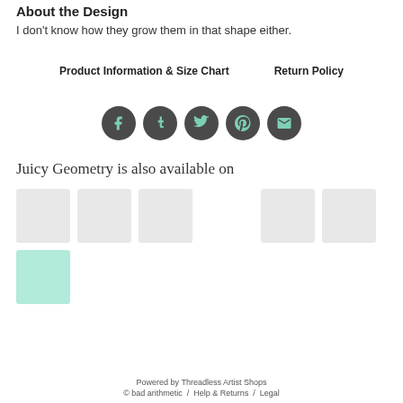About the Design
I don't know how they grow them in that shape either.
Product Information & Size Chart     Return Policy
[Figure (infographic): Row of 5 dark circular social media icon buttons: Facebook, Tumblr, Twitter, Pinterest, Email — icons in mint/teal color]
Juicy Geometry is also available on
[Figure (other): Row of product thumbnail placeholder boxes, alternating grey and mint/teal colored boxes]
Powered by Threadless Artist Shops
© bad arithmetic /  Help & Returns /  Legal